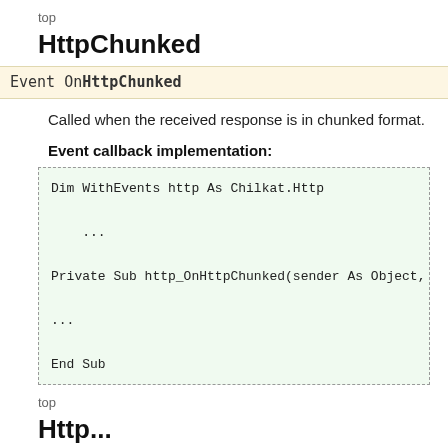top
HttpChunked
Event OnHttpChunked
Called when the received response is in chunked format.
Event callback implementation:
Dim WithEvents http As Chilkat.Http

    ...

Private Sub http_OnHttpChunked(sender As Object,

...

End Sub
top
Http...